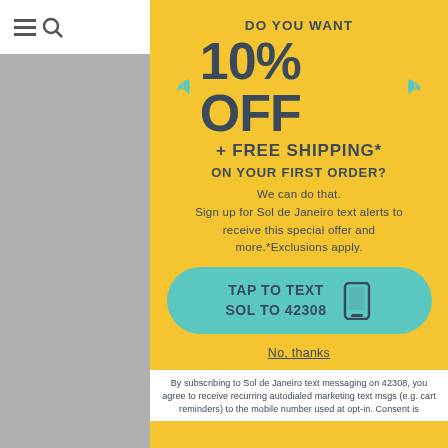[Figure (screenshot): Website header bar with hamburger menu, search icon, and cart icon with badge showing 0]
DO YOU WANT
10% OFF
+ FREE SHIPPING*
ON YOUR FIRST ORDER?
We can do that. Sign up for Sol de Janeiro text alerts to receive this special offer and more.*Exclusions apply.
TAP TO TEXT SOL TO 42308
No, thanks
By subscribing to Sol de Janeiro text messaging on 42308, you agree to receive recurring autodialed marketing text msgs (e.g. cart reminders) to the mobile number used at opt-in. Consent is